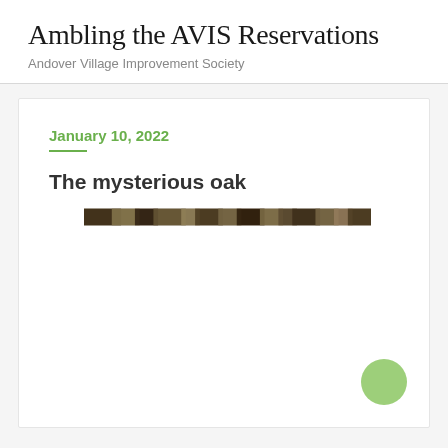Ambling the AVIS Reservations
Andover Village Improvement Society
January 10, 2022
The mysterious oak
[Figure (photo): A narrow horizontal strip of a photo showing a wooded scene, likely an oak tree or forest floor with leaves and branches]